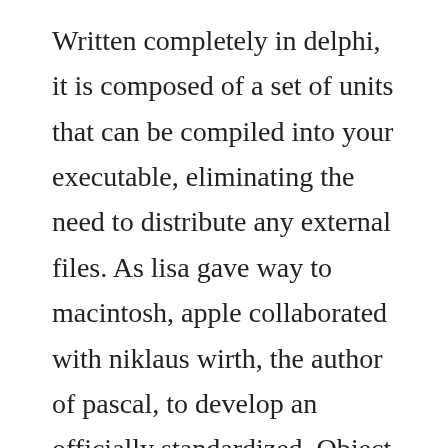Written completely in delphi, it is composed of a set of units that can be compiled into your executable, eliminating the need to distribute any external files. As lisa gave way to macintosh, apple collaborated with niklaus wirth, the author of pascal, to develop an officially standardized. Object pascal software free download object pascal top 4 download offers free software downloads for windows, mac, ios and android computers and mobile devices. Oct 03, 2017 today there are two major implementations. The language syntax is semantically compatible with tp 7. Just log